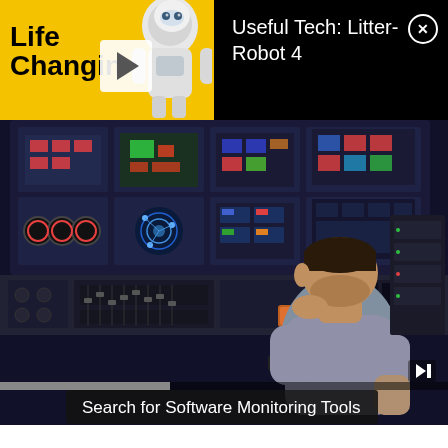[Figure (screenshot): Notification bar showing 'Useful Tech: Litter-Robot 4' with a yellow thumbnail featuring Life Changing branding and a robot figure, with a close (X) button]
[Figure (photo): Video player showing a man in a control room with multiple monitors displaying colorful dashboards, viewed from behind, sitting at a console with equipment]
Search for Software Monitoring Tools